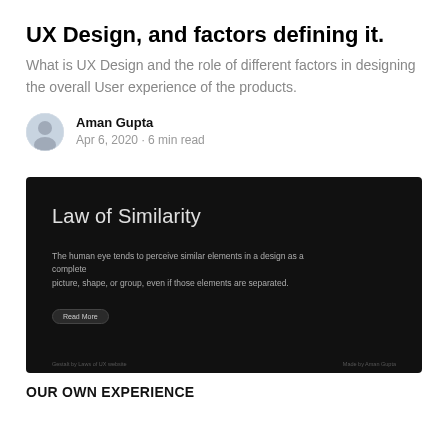UX Design, and factors defining it.
What is UX Design and the role of different factors in designing the overall User experience of the products.
Aman Gupta
Apr 6, 2020 · 6 min read
[Figure (screenshot): Dark-themed UI slide showing 'Law of Similarity' with description text: 'The human eye tends to perceive similar elements in a design as a complete picture, shape, or group, even if those elements are separated.' A 'Read More' button is visible. Footer shows small text on both sides.]
OUR OWN EXPERIENCE